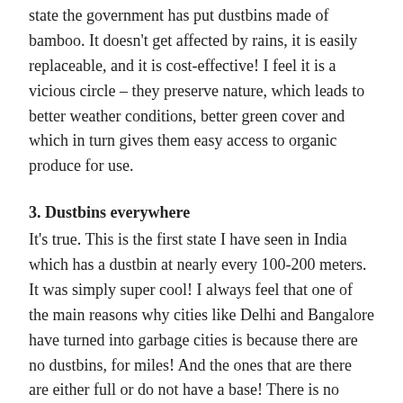state the government has put dustbins made of bamboo. It doesn't get affected by rains, it is easily replaceable, and it is cost-effective! I feel it is a vicious circle – they preserve nature, which leads to better weather conditions, better green cover and which in turn gives them easy access to organic produce for use.
3. Dustbins everywhere
It's true. This is the first state I have seen in India which has a dustbin at nearly every 100-200 meters. It was simply super cool! I always feel that one of the main reasons why cities like Delhi and Bangalore have turned into garbage cities is because there are no dustbins, for miles! And the ones that are there are either full or do not have a base! There is no regular collection/clearance either! In Meghalaya, not only were the dustbins